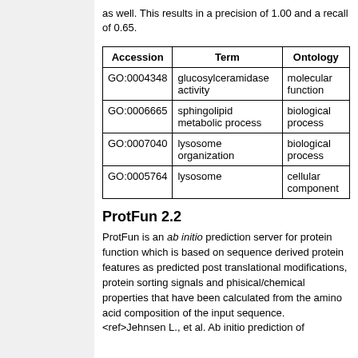as well. This results in a precision of 1.00 and a recall of 0.65.
| Accession | Term | Ontology |
| --- | --- | --- |
| GO:0004348 | glucosylceramidase activity | molecular function |
| GO:0006665 | sphingolipid metabolic process | biological process |
| GO:0007040 | lysosome organization | biological process |
| GO:0005764 | lysosome | cellular component |
ProtFun 2.2
ProtFun is an ab initio prediction server for protein function which is based on sequence derived protein features as predicted post translational modifications, protein sorting signals and phisical/chemical properties that have been calculated from the amino acid composition of the input sequence. <ref>Jehnsen L., et al. Ab initio prediction of